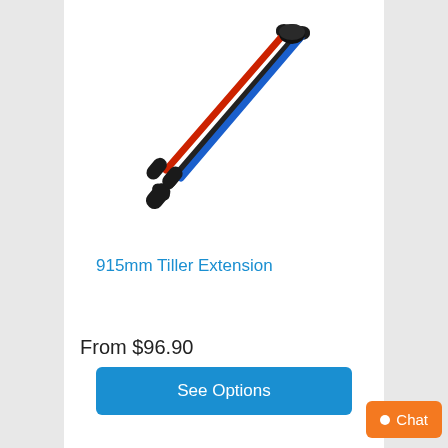[Figure (photo): Three tiller extension poles arranged diagonally: one black, one blue, one red with black handles/grips at each end]
915mm Tiller Extension
From $96.90
See Options
Chat